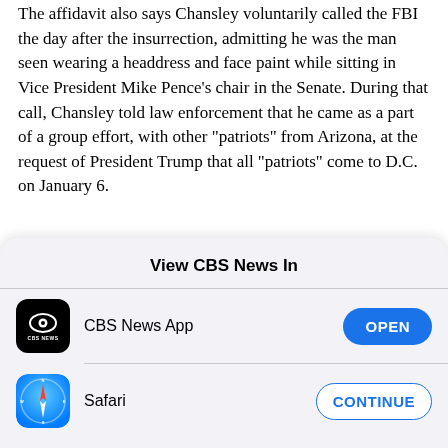The affidavit also says Chansley voluntarily called the FBI the day after the insurrection, admitting he was the man seen wearing a headdress and face paint while sitting in Vice President Mike Pence's chair in the Senate. During that call, Chansley told law enforcement that he came as a part of a group effort, with other "patriots" from Arizona, at the request of President Trump that all "patriots" come to D.C. on January 6.
View CBS News In
[Figure (logo): CBS News app icon — black rounded square with CBS eye logo and 'CBS NEWS' text]
CBS News App
OPEN
[Figure (logo): Safari browser icon — blue circular compass icon]
Safari
CONTINUE